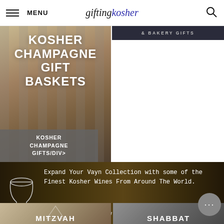MENU | giftingkosher
[Figure (screenshot): Dark banner at top right reading BAKERY GIFTS]
[Figure (photo): Kosher Champagne Gift Baskets promotional image with text overlay and button reading KOSHER CHAMPAGNE GIFTS/DIV>]
[Figure (photo): Kosher Wine Club banner with goblet image and text: Expand Your Vayn Collection with some of the Finest Kosher Wines From Around The World. KOSHER WINE CLUB]
[Figure (photo): Bottom left card: MITZVAH]
[Figure (photo): Bottom right card: SHABBAT]